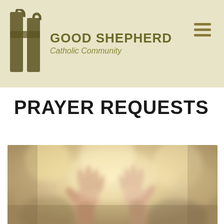[Figure (logo): Good Shepherd Catholic Community logo with a stylized cross/shepherd icon in dark olive and the text 'GOOD SHEPHERD Catholic Community' in olive/gold tones, plus a hamburger menu icon on the right side of the header bar]
PRAYER REQUESTS
[Figure (photo): A blurred/bokeh photograph showing hands raised upward in prayer against a soft warm light background with blurred figures in the background]